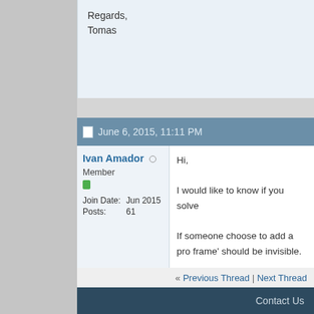Regards,
Tomas
June 6, 2015, 11:11 PM
Ivan Amador
Member
Join Date: Jun 2015
Posts: 61
Hi,

I would like to know if you solve

If someone choose to add a pro frame' should be invisible.

Regards,
+ Reply to Thread   Quick Nav
« Previous Thread | Next Thread
Contact Us